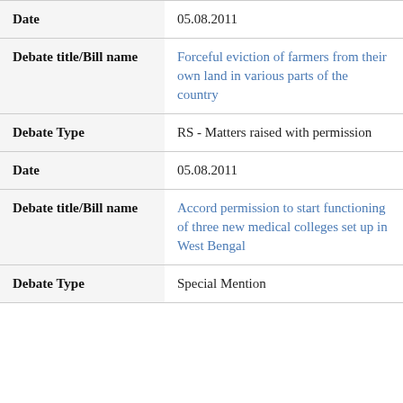| Field | Value |
| --- | --- |
| Date | 05.08.2011 |
| Debate title/Bill name | Forceful eviction of farmers from their own land in various parts of the country |
| Debate Type | RS - Matters raised with permission |
| Date | 05.08.2011 |
| Debate title/Bill name | Accord permission to start functioning of three new medical colleges set up in West Bengal |
| Debate Type | Special Mention |